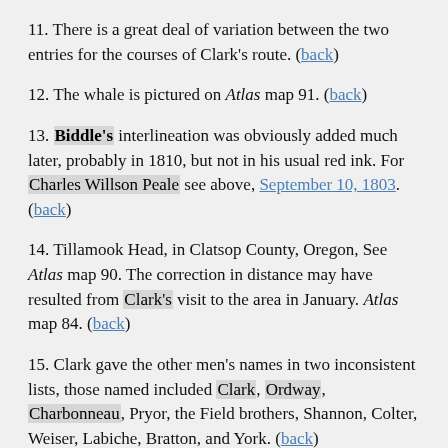11. There is a great deal of variation between the two entries for the courses of Clark's route. (back)
12. The whale is pictured on Atlas map 91. (back)
13. Biddle's interlineation was obviously added much later, probably in 1810, but not in his usual red ink. For Charles Willson Peale see above, September 10, 1803. (back)
14. Tillamook Head, in Clatsop County, Oregon, See Atlas map 90. The correction in distance may have resulted from Clark's visit to the area in January. Atlas map 84. (back)
15. Clark gave the other men's names in two inconsistent lists, those named included Clark, Ordway, Charbonneau, Pryor, the Field brothers, Shannon, Colter, Weiser, Labiche, Bratton, and York. (back)